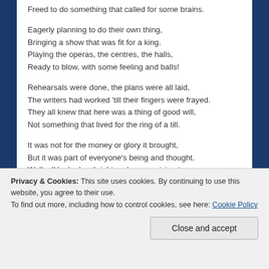Freed to do something that called for some brains.

Eagerly planning to do their own thing,
Bringing a show that was fit for a king.
Playing the operas, the centres, the halls,
Ready to blow, with some feeling and balls!

Rehearsals were done, the plans were all laid,
The writers had worked 'till their fingers were frayed.
They all knew that here was a thing of good will,
Not something that lived for the ring of a till.

It was not for the money or glory it brought,
But it was part of everyone's being and thought.
Well, all looked so bright and so promising too,
Privacy & Cookies: This site uses cookies. By continuing to use this website, you agree to their use.
To find out more, including how to control cookies, see here: Cookie Policy